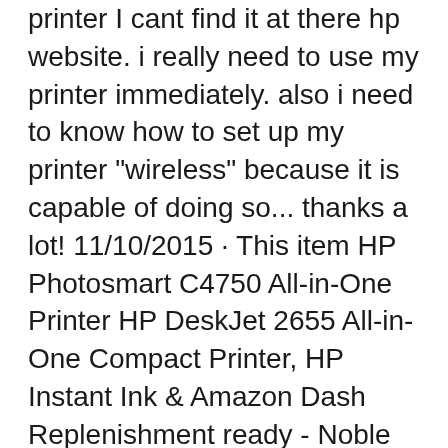printer I cant find it at there hp website. i really need to use my printer immediately. also i need to know how to set up my printer "wireless" because it is capable of doing so... thanks a lot! 11/10/2015 · This item HP Photosmart C4750 All-in-One Printer HP DeskJet 2655 All-in-One Compact Printer, HP Instant Ink & Amazon Dash Replenishment ready - Noble Blue (V1N01A) HP ENVY Photo 7855 All in One Photo Printer with Wireless Printing, HP Instant Ink ...
How good is HP PhotoSmart C4780 as a multifunction printer? This incredible home printer is just like all machines in one device. You can get have printer,